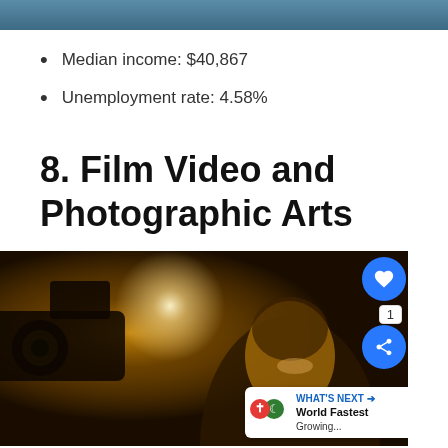[Figure (photo): Partial top image, dark blue/grey background, appears to be top of a previous section image]
Median income: $40,867
Unemployment rate: 4.58%
8. Film Video and Photographic Arts
[Figure (photo): Photo of a young man smiling near a film camera on a movie set, with warm golden lighting and a light flare. UI overlays include a heart/like button, share button, count badge showing 1, and a 'What's Next' widget showing 'World Fastest Growing...']